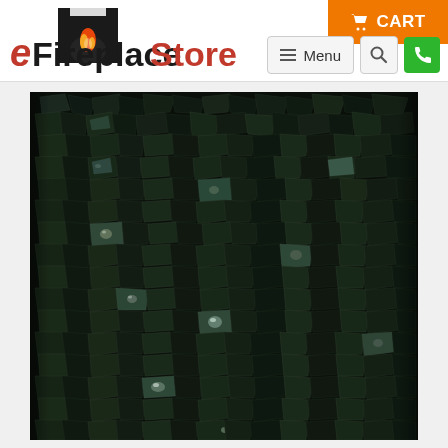[Figure (logo): eFireplaceStore logo with fireplace silhouette and flame]
[Figure (other): Orange CART button with shopping cart icon in top right corner]
[Figure (other): Menu button with hamburger icon and search/phone buttons]
[Figure (photo): Close-up photo of dark black reflective fire glass pieces/crystals scattered densely, used for fireplace decoration]